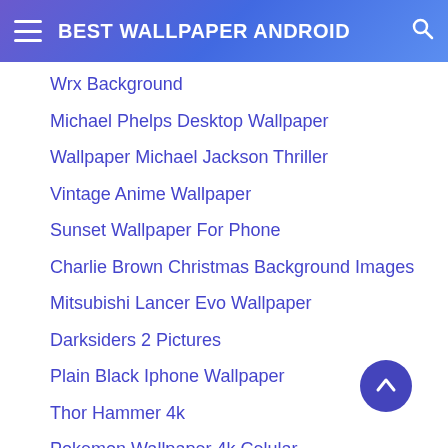BEST WALLPAPER ANDROID
Wrx Background
Michael Phelps Desktop Wallpaper
Wallpaper Michael Jackson Thriller
Vintage Anime Wallpaper
Sunset Wallpaper For Phone
Charlie Brown Christmas Background Images
Mitsubishi Lancer Evo Wallpaper
Darksiders 2 Pictures
Plain Black Iphone Wallpaper
Thor Hammer 4k
Pokemon Wallpaper 4k Celular
Nana Im Jin Ah Wallpaper
Flyers Desktop Wallpaper
Ramayanam Images Free Download
Joker Hd Wallpaper 4k Download For Android